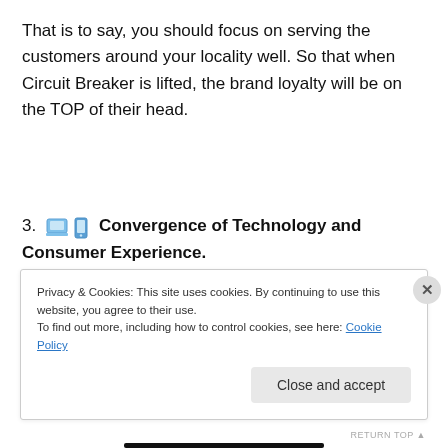That is to say, you should focus on serving the customers around your locality well. So that when Circuit Breaker is lifted, the brand loyalty will be on the TOP of their head.
3. 💻 📱 Convergence of Technology and Consumer Experience.
Use technology to build a personal relationship with your
Privacy & Cookies: This site uses cookies. By continuing to use this website, you agree to their use.
To find out more, including how to control cookies, see here: Cookie Policy